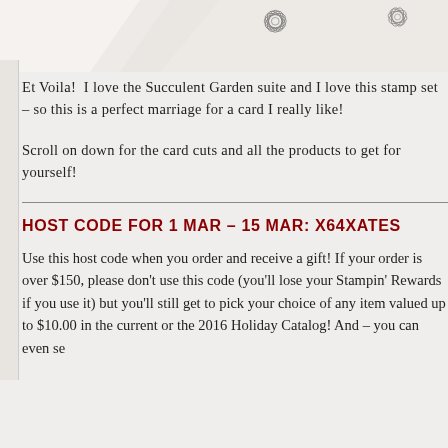[Figure (illustration): Decorative floral/botanical line art stamps scattered across the top of the page on a light gray background, including lotus or succulent flower motifs]
Et Voila!  I love the Succulent Garden suite and I love this stamp set – so this is a perfect marriage for a card I really like!
Scroll on down for the card cuts and all the products to get for yourself!
HOST CODE FOR 1 MAR – 15 MAR: X64XATES
Use this host code when you order and receive a gift! If your order is over $150, please don't use this code (you'll lose your Stampin' Rewards if you use it) but you'll still get to pick your choice of any item valued up to $10.00 in the current or the 2016 Holiday Catalog! And – you can even se